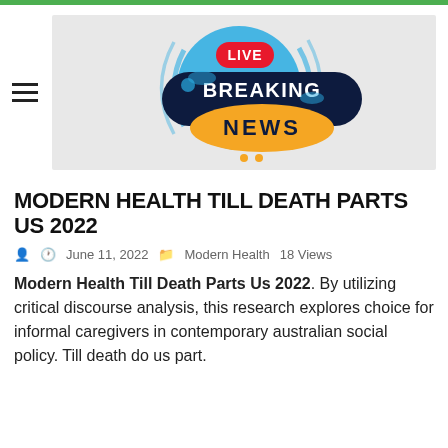[Figure (logo): Breaking News logo with LIVE badge, dark navy pill shape with BREAKING NEWS text, orange NEWS bubble, blue circular background elements]
MODERN HEALTH TILL DEATH PARTS US 2022
June 11, 2022   Modern Health   18 Views
Modern Health Till Death Parts Us 2022. By utilizing critical discourse analysis, this research explores choice for informal caregivers in contemporary australian social policy. Till death do us part.